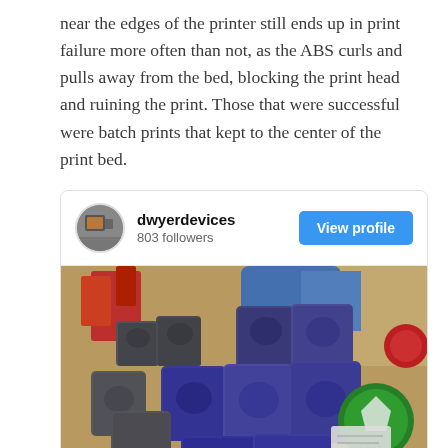near the edges of the printer still ends up in print failure more often than not, as the ABS curls and pulls away from the bed, blocking the print head and ruining the print. Those that were successful were batch prints that kept to the center of the print bed.
[Figure (photo): Instagram-style social card showing profile 'dwyerdevices' with 803 followers and a 'View profile' button, with a photo of 3D printed cube-shaped game pieces in dark blue/grey colors arranged together on a table with board game materials visible in the background.]